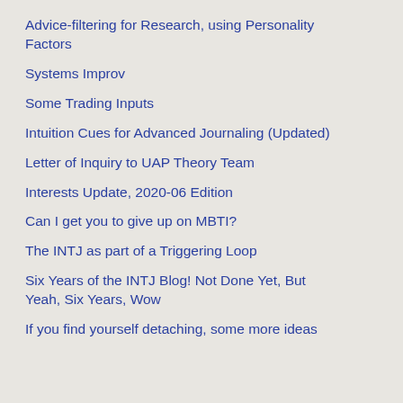Advice-filtering for Research, using Personality Factors
Systems Improv
Some Trading Inputs
Intuition Cues for Advanced Journaling (Updated)
Letter of Inquiry to UAP Theory Team
Interests Update, 2020-06 Edition
Can I get you to give up on MBTI?
The INTJ as part of a Triggering Loop
Six Years of the INTJ Blog! Not Done Yet, But Yeah, Six Years, Wow
If you find yourself detaching, some more ideas